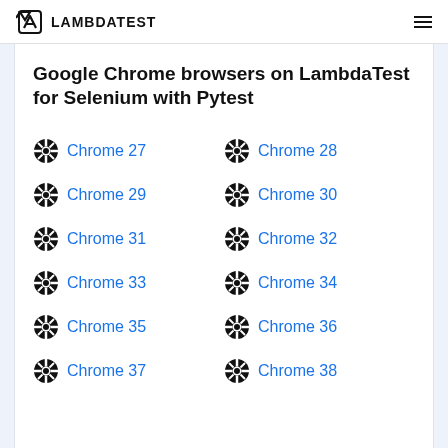LAMBDATEST
Google Chrome browsers on LambdaTest for Selenium with Pytest
Chrome 27
Chrome 28
Chrome 29
Chrome 30
Chrome 31
Chrome 32
Chrome 33
Chrome 34
Chrome 35
Chrome 36
Chrome 37
Chrome 38